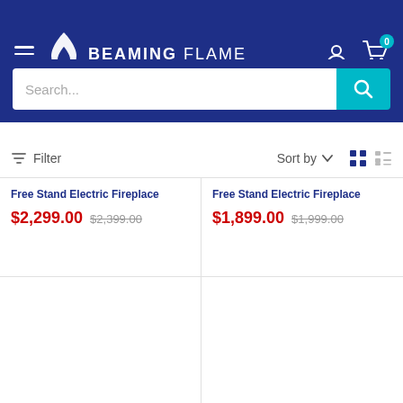BEAMING FLAME
Search...
Filter  Sort by
Free Stand Electric Fireplace
$2,299.00  $2,399.00
Free Stand Electric Fireplace
$1,899.00  $1,999.00